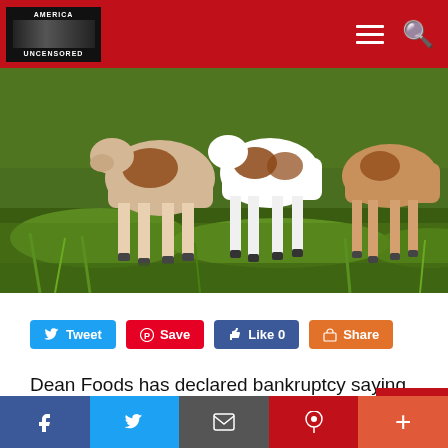America Uncensored — navigation header with logo, hamburger menu, and search icon
[Figure (photo): Herd of dairy cows standing in a green grassy field, photographed from low angle showing their legs and underbellies]
Tweet  Save  Like 0  Share
Dean Foods has declared bankruptcy saying there's been a drop in demand for milk and milk produ…
Bottom navigation bar with Facebook, Twitter, email/share, Pinterest, and more (+) icons